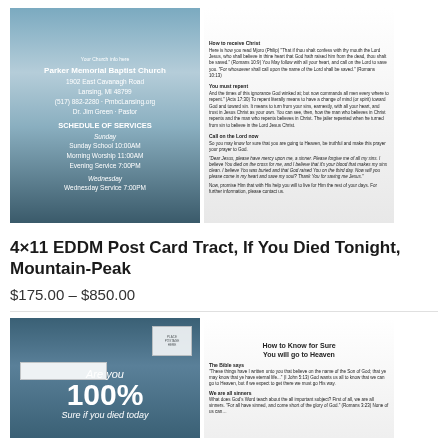[Figure (photo): Product image of 4x11 EDDM Post Card Tract with mountain peak background, showing front (church info) and back (gospel text) sides]
4×11 EDDM Post Card Tract, If You Died Tonight, Mountain-Peak
$175.00 – $850.00
[Figure (photo): Product image of a second gospel tract showing 'Are you 100% Sure if you died today' with teal background, and 'How to Know for Sure You will go to Heaven' text on the back side]